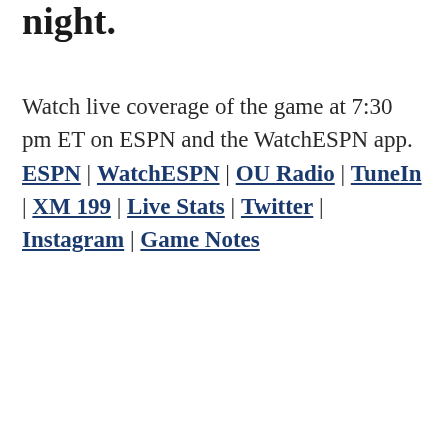night.
Watch live coverage of the game at 7:30 pm ET on ESPN and the WatchESPN app. ESPN | WatchESPN | OU Radio | TuneIn | XM 199 | Live Stats | Twitter | Instagram | Game Notes